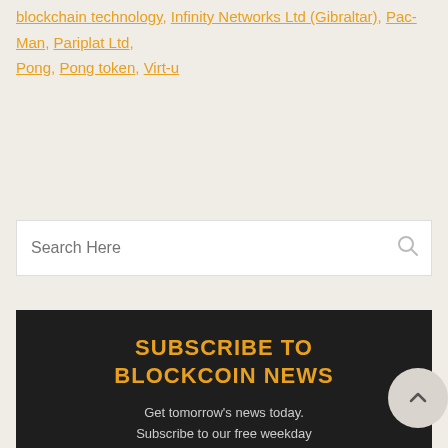Tags: Atari, Atari-on, Atari token, blockchain technology, Infinity Networks Ltd (Gibraltar), Pac-Man, Pariplat Ltd, Pong, Pong token, Virt-u
Search Here
SUBSCRIBE TO BLOCKCOIN NEWS
Get tomorrow's news today. Subscribe to our free weekday newsletter.
Enter your email here